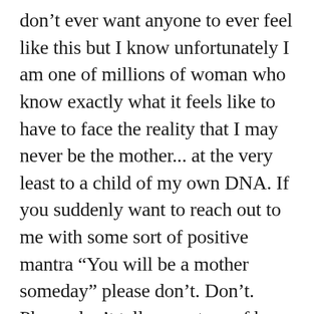don't ever want anyone to ever feel like this but I know unfortunately I am one of millions of woman who know exactly what it feels like to have to face the reality that I may never be the mother... at the very least to a child of my own DNA. If you suddenly want to reach out to me with some sort of positive mantra “You will be a mother someday” please don't. Don't. Please don't tell me a story of how you know someone who knows someone who did IVF and failed and then they got pregnant naturally. It does not fill me with hope. It fills me with envy. Maybe I’ll be one of those stories someday of somebody who